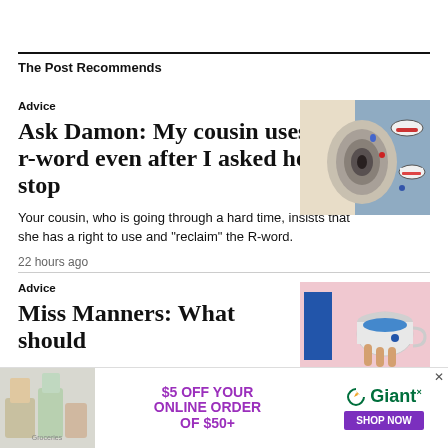The Post Recommends
Advice
Ask Damon: My cousin uses the r-word even after I asked her to stop
Your cousin, who is going through a hard time, insists that she has a right to use and "reclaim" the R-word.
22 hours ago
[Figure (illustration): Surreal illustration of a large ear in the center, with floating mouths around it on a cloudy background]
Advice
Miss Manners: What should
[Figure (photo): Photo of a teacup with blue liquid on a pink background with a blue rectangle on the left]
[Figure (photo): Advertisement banner: $5 OFF YOUR ONLINE ORDER OF $50+ Giant SHOP NOW with grocery products image]